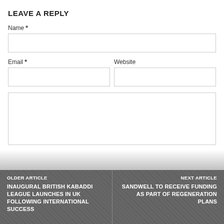LEAVE A REPLY
Name *
Email *
Website
OLDER ARTICLE
INAUGURAL BRITISH KABADDI LEAGUE LAUNCHES IN UK FOLLOWING INTERNATIONAL SUCCESS
NEXT ARTICLE
SANDWELL TO RECEIVE FUNDING AS PART OF REGENERATION PLANS